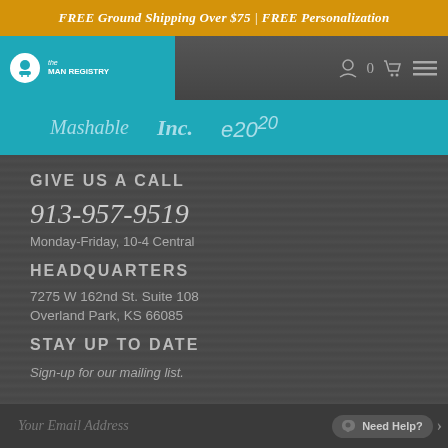FREE Ground Shipping Over $75 | FREE Personalization
[Figure (logo): The Man Registry logo with teal background, white circle icon and white text]
[Figure (logo): Media logos bar: Mashable, Inc., e2020 on teal background]
GIVE US A CALL
913-957-9519
Monday-Friday, 10-4 Central
HEADQUARTERS
7275 W 162nd St. Suite 108
Overland Park, KS 66085
STAY UP TO DATE
Sign-up for our mailing list.
Your Email Address